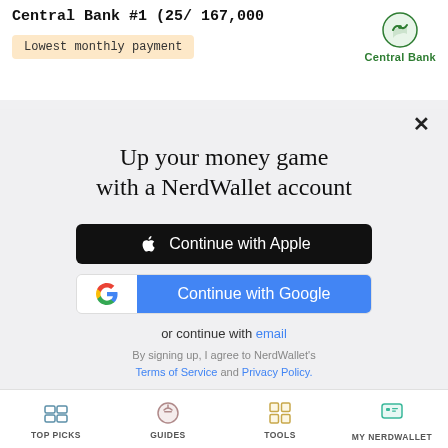Central Bank #1 (25/ 167,000
Lowest monthly payment
Up your money game with a NerdWallet account
Continue with Apple
Continue with Google
or continue with email
By signing up, I agree to NerdWallet's Terms of Service and Privacy Policy.
TOP PICKS   GUIDES   TOOLS   MY NERDWALLET